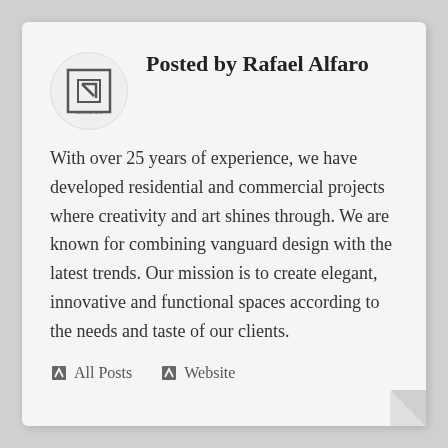Posted by Rafael Alfaro
With over 25 years of experience, we have developed residential and commercial projects where creativity and art shines through. We are known for combining vanguard design with the latest trends. Our mission is to create elegant, innovative and functional spaces according to the needs and taste of our clients.
All Posts   Website